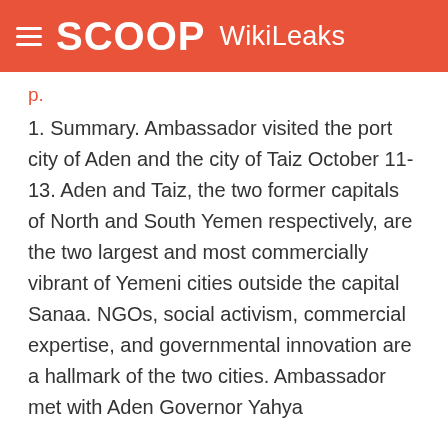SCOOP WikiLeaks
1. Summary. Ambassador visited the port city of Aden and the city of Taiz October 11-13. Aden and Taiz, the two former capitals of North and South Yemen respectively, are the two largest and most commercially vibrant of Yemeni cities outside the capital Sanaa. NGOs, social activism, commercial expertise, and governmental innovation are a hallmark of the two cities. Ambassador met with Aden Governor Yahya